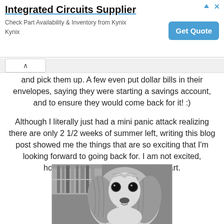[Figure (screenshot): Advertisement banner for Integrated Circuits Supplier - Kynix. Title: Integrated Circuits Supplier. Subtitle: Check Part Availability & Inventory from Kynix Kynix. Blue Get Quote button on the right. Arrow and X icons top right.]
and pick them up. A few even put dollar bills in their envelopes, saying they were starting a savings account, and to ensure they would come back for it! :)
Although I literally just had a mini panic attack realizing there are only 2 1/2 weeks of summer left, writing this blog post showed me the things that are so exciting that I'm looking forward to going back for. I am not excited, however, to leave this little sweetheart.
[Figure (photo): Black and white close-up photo of a Cavalier King Charles Spaniel dog with long wavy ears and large dark eyes.]